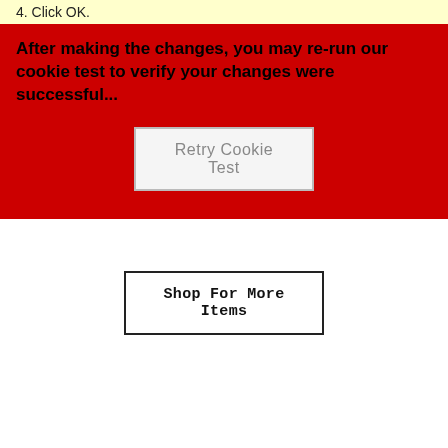4. Click OK.
After making the changes, you may re-run our cookie test to verify your changes were successful...
[Figure (screenshot): Retry Cookie Test button on red background]
[Figure (screenshot): Shop For More Items button on white background]